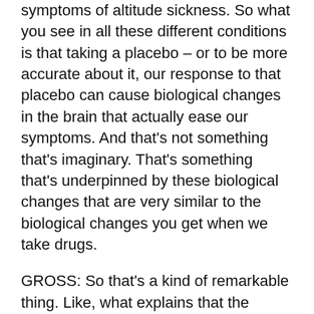symptoms of altitude sickness. So what you see in all these different conditions is that taking a placebo – or to be more accurate about it, our response to that placebo can cause biological changes in the brain that actually ease our symptoms. And that's not something that's imaginary. That's something that's underpinned by these biological changes that are very similar to the biological changes you get when we take drugs.
GROSS: So that's a kind of remarkable thing. Like, what explains that the proper hormones are released when people take a placebo depending on what their needs are and what they think the placebo's going to do?
MARCHANT: There are lots of different things that are feeding into it. Just as there are different mechanisms of placebo, there are probably different